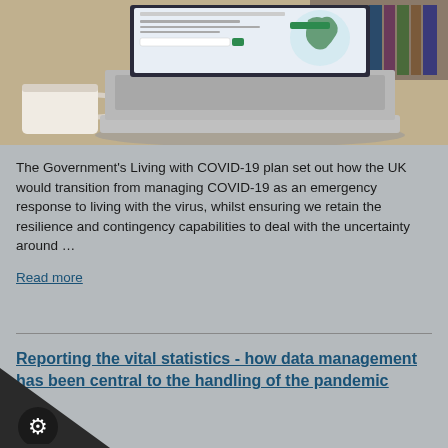[Figure (photo): Laptop computer open on a desk showing a website with a map of the UK, with a coffee mug and stacked books in the background]
The Government's Living with COVID-19 plan set out how the UK would transition from managing COVID-19 as an emergency response to living with the virus, whilst ensuring we retain the resilience and contingency capabilities to deal with the uncertainty around …
Read more
Reporting the vital statistics - how data management has been central to the handling of the pandemic